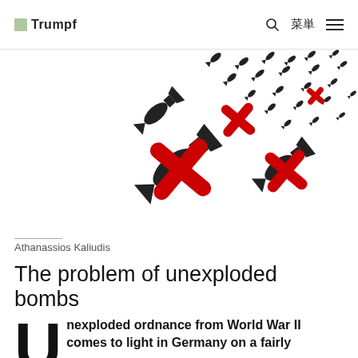Trumpf  菜单
[Figure (illustration): Black bomb/missile silhouettes and red X marks scattered diagonally across white background, representing unexploded ordnance]
Athanassios Kaliudis
The problem of unexploded bombs
Unexploded ordnance from World War II comes to light in Germany on a fairly